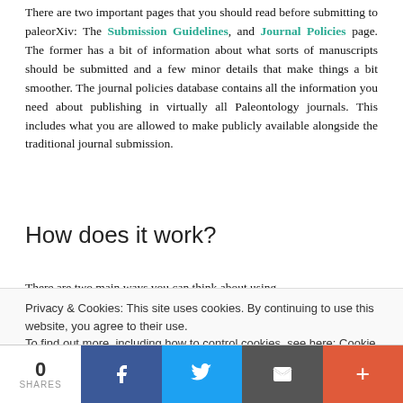There are two important pages that you should read before submitting to paleorXiv: The Submission Guidelines, and Journal Policies page. The former has a bit of information about what sorts of manuscripts should be submitted and a few minor details that make things a bit smoother. The journal policies database contains all the information you need about publishing in virtually all Paleontology journals. This includes what you are allowed to make publicly available alongside the traditional journal submission.
How does it work?
There are two main ways you can think about using
Privacy & Cookies: This site uses cookies. By continuing to use this website, you agree to their use. To find out more, including how to control cookies, see here: Cookie Policy